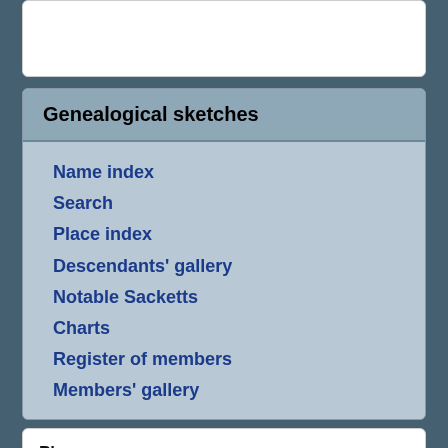Genealogical sketches
Name index
Search
Place index
Descendants' gallery
Notable Sacketts
Charts
Register of members
Members' gallery
Place names
Place names are linked to the Place Index, with lists of people having events at each place (down to county level).